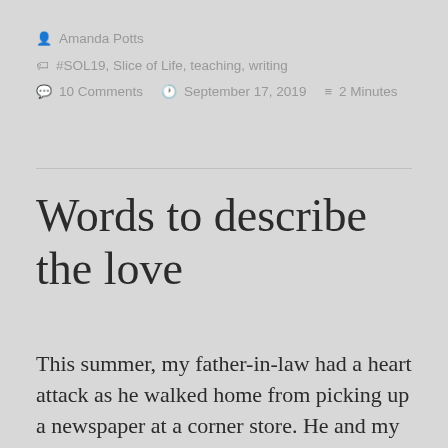Amanda Potts
#SOL19, Slice of Life, teaching, writing
10 Comments   September 17, 2019   2 Minutes
Words to describe the love
This summer, my father-in-law had a heart attack as he walked home from picking up a newspaper at a corner store. He and my mother-in-law were visiting family in Massachusetts, thousands of miles from their home in Arizona. By rights, Jim should